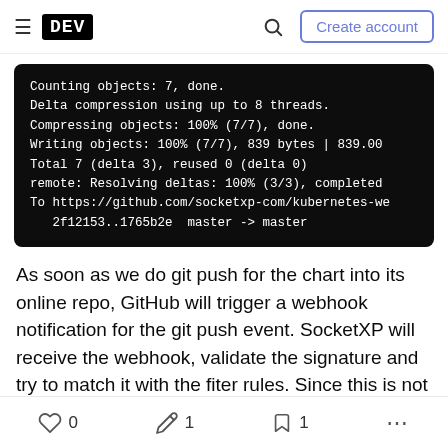DEV — Create account
[Figure (screenshot): Terminal output showing git push results: Counting objects: 7, done. Delta compression using up to 8 threads. Compressing objects: 100% (7/7), done. Writing objects: 100% (7/7), 839 bytes | 839.00. Total 7 (delta 3), reused 0 (delta 0). remote: Resolving deltas: 100% (3/3), completed. To https://github.com/socketxp-com/kubernetes-we. 2f12153..1765b2e  master -> master]
As soon as we do git push for the chart into its online repo, GitHub will trigger a webhook notification for the git push event. SocketXP will receive the webhook, validate the signature and try to match it with the fiter rules. Since this is not a release
0  1  1  ...